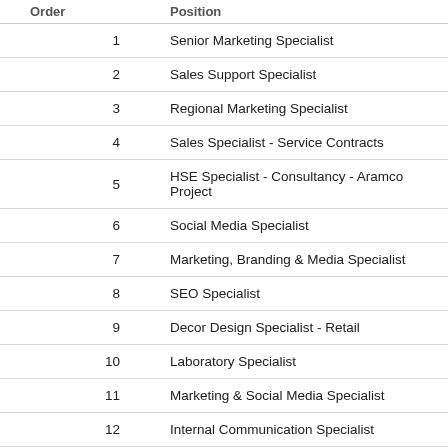| Order | Position |
| --- | --- |
| 1 | Senior Marketing Specialist |
| 2 | Sales Support Specialist |
| 3 | Regional Marketing Specialist |
| 4 | Sales Specialist - Service Contracts |
| 5 | HSE Specialist - Consultancy - Aramco Project |
| 6 | Social Media Specialist |
| 7 | Marketing, Branding & Media Specialist |
| 8 | SEO Specialist |
| 9 | Decor Design Specialist - Retail |
| 10 | Laboratory Specialist |
| 11 | Marketing & Social Media Specialist |
| 12 | Internal Communication Specialist |